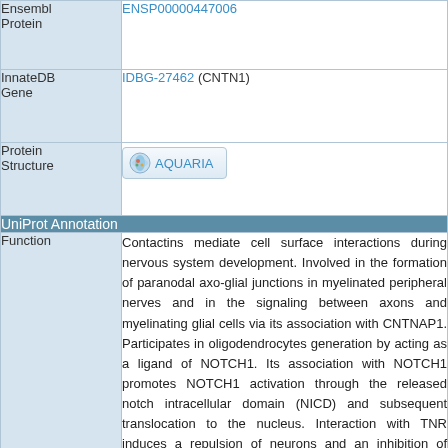| Field | Value |
| --- | --- |
| Ensembl Protein | ENSP00000447006 |
| InnateDB Gene | IDBG-27462 (CNTN1) |
| Protein Structure | [AQUARIA button] |
| UniProt Annotation |  |
| Function | Contactins mediate cell surface interactions during nervous system development. Involved in the formation of paranodal axo-glial junctions in myelinated peripheral nerves and in the signaling between axons and myelinating glial cells via its association with CNTNAP1. Participates in oligodendrocytes generation by acting as a ligand of NOTCH1. Its association with NOTCH1 promotes NOTCH1 activation through the released notch intracellular domain (NICD) and subsequent translocation to the nucleus. Interaction with TNR induces a repulsion of neurons and an inhibition of neurite outgrowth (By similarity). {ECO:0000250}. |